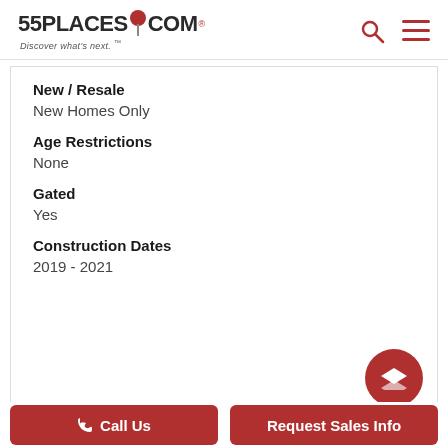55PLACES.COM — Discover what's next.
New / Resale
New Homes Only
Age Restrictions
None
Gated
Yes
Construction Dates
2019 - 2021
Call Us | Request Sales Info